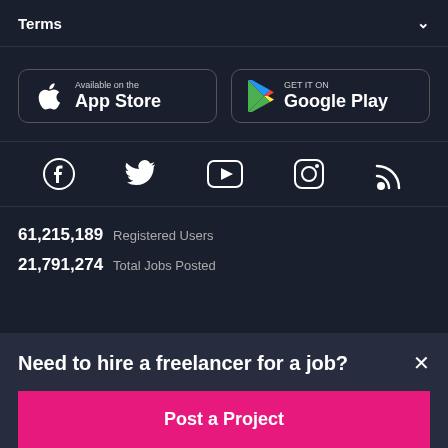Terms
[Figure (logo): App Store download button with Apple logo]
[Figure (logo): Google Play download button with Play Store logo]
[Figure (infographic): Social media icons: Facebook, Twitter, YouTube, Instagram, RSS]
61,215,189  Registered Users
21,791,274  Total Jobs Posted
Need to hire a freelancer for a job?
Post a Project